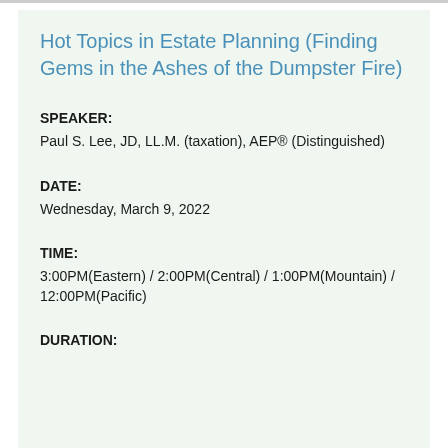Hot Topics in Estate Planning (Finding Gems in the Ashes of the Dumpster Fire)
SPEAKER:
Paul S. Lee, JD, LL.M. (taxation), AEP® (Distinguished)
DATE:
Wednesday, March 9, 2022
TIME:
3:00PM(Eastern) / 2:00PM(Central) / 1:00PM(Mountain) / 12:00PM(Pacific)
DURATION: